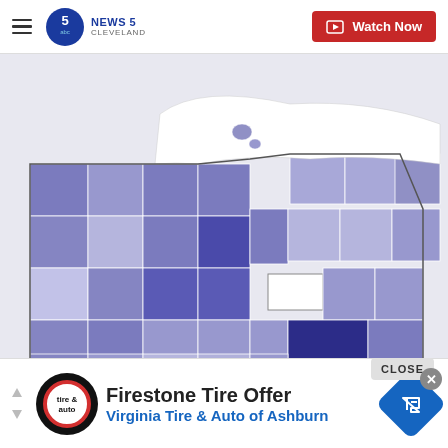News 5 Cleveland — Watch Now
[Figure (map): Choropleth map of Ohio counties shaded in varying intensities of blue/purple, with one white county in the center-east area and one bright white region at the north (Lake Erie). The southeast has the darkest shading. One county overlay shows a white highlighted region.]
[Figure (other): CLOSE button with X circle overlay in the lower right of the map]
Firestone Tire Offer
Virginia Tire & Auto of Ashburn